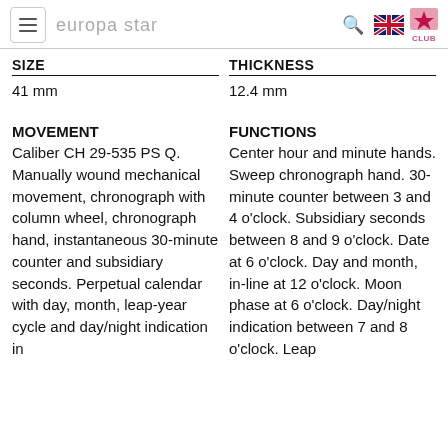europa star
SIZE
41 mm
THICKNESS
12.4 mm
MOVEMENT
Caliber CH 29-535 PS Q. Manually wound mechanical movement, chronograph with column wheel, chronograph hand, instantaneous 30-minute counter and subsidiary seconds. Perpetual calendar with day, month, leap-year cycle and day/night indication in
FUNCTIONS
Center hour and minute hands. Sweep chronograph hand. 30-minute counter between 3 and 4 o'clock. Subsidiary seconds between 8 and 9 o'clock. Date at 6 o'clock. Day and month, in-line at 12 o'clock. Moon phase at 6 o'clock. Day/night indication between 7 and 8 o'clock. Leap